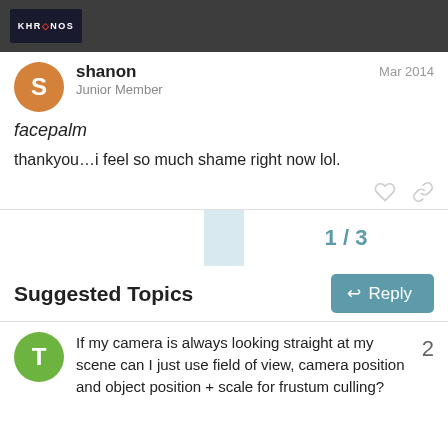Khronos forum header
shanon
Junior Member
Mar 2014
facepalm
thankyou...i feel so much shame right now lol.
1 / 3
Reply
Suggested Topics
If my camera is always looking straight at my scene can I just use field of view, camera position and object position + scale for frustum culling?
2